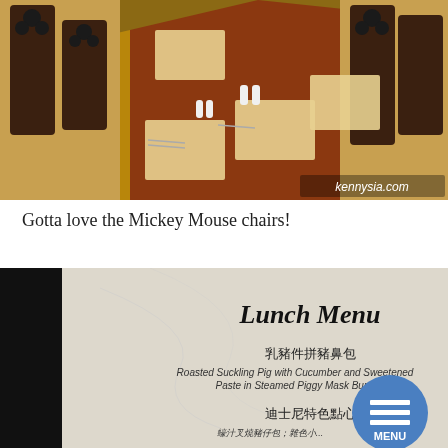[Figure (photo): Long dining table set for service with Mickey Mouse shaped chair backs, place settings, condiment bottles, in a restaurant at what appears to be a Disney property. Watermark reads kennysia.com.]
Gotta love the Mickey Mouse chairs!
[Figure (photo): Close-up of a Lunch Menu card on a dark background showing Chinese and English text. Title: Lunch Menu. Items include: 乳豬件拼豬鼻包 - Roasted Suckling Pig with Cucumber and Sweetened Paste in Steamed Piggy Mask Buns; 迪士尼特色點心 - partially visible. A circular MENU button overlay is visible at bottom right.]